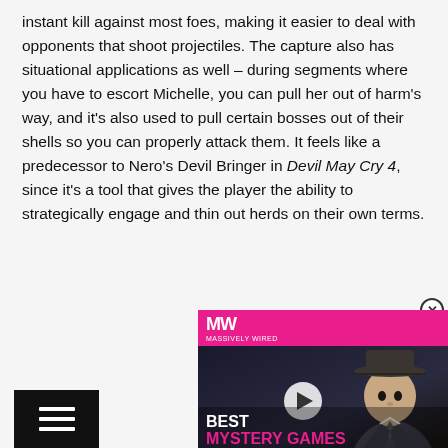instant kill against most foes, making it easier to deal with opponents that shoot projectiles. The capture also has situational applications as well – during segments where you have to escort Michelle, you can pull her out of harm's way, and it's also used to pull certain bosses out of their shells so you can properly attack them. It feels like a predecessor to Nero's Devil Bringer in Devil May Cry 4, since it's a tool that gives the player the ability to strategically engage and thin out herds on their own terms.
[Figure (screenshot): Video player thumbnail showing a 3D animated character in a hat and suit, with a pink MW (MassivelyWired?) logo banner at the top, a play button in the center, and 'BEST MYSTERY GAMES' text overlay at the bottom. Close button (X in circle) in top right corner.]